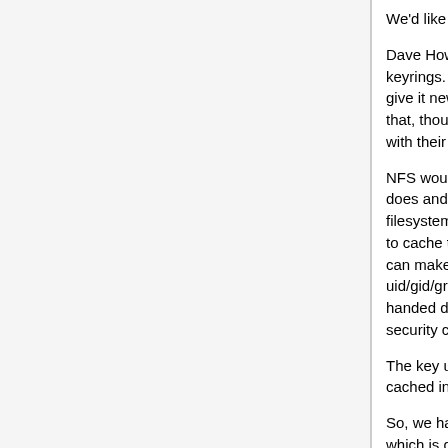We'd like this for NFS as well.
Dave Howells says: "This is why I added session keyrings. You can run a process in a new keyring and give it new tokens. systemd kind of stuck a spike in that, though, by doing their own incompatible thing with their user manager service....
NFS would need to do what the in-kernel AFS client does and call request_key() on entry to each filesystem method that doesn't take a file* and use that to cache the credentials it is using. If there is no key, it can make one up on the spot and stick the uid/gid/groups in there. This would then need to be handed down to the sunrpc protocol to define the security creds to use.
The key used to open a file would then need to be cached in the file struct private data."
So, we have a lot of good kernel infrastructure in place which is designed to do this, but (despite an attempt or two) nobody has managed to quite make it work for NFS yet.